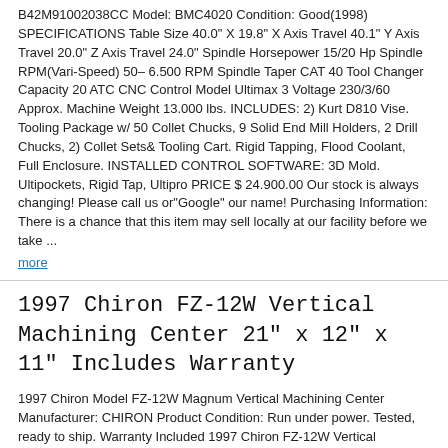B42M91002038CC Model: BMC4020 Condition: Good(1998) SPECIFICATIONS Table Size 40.0" X 19.8" X Axis Travel 40.1" Y Axis Travel 20.0" Z Axis Travel 24.0" Spindle Horsepower 15/20 Hp Spindle RPM(Vari-Speed) 50– 6.500 RPM Spindle Taper CAT 40 Tool Changer Capacity 20 ATC CNC Control Model Ultimax 3 Voltage 230/3/60 Approx. Machine Weight 13.000 lbs. INCLUDES: 2) Kurt D810 Vise. Tooling Package w/ 50 Collet Chucks, 9 Solid End Mill Holders, 2 Drill Chucks, 2) Collet Sets& Tooling Cart. Rigid Tapping, Flood Coolant, Full Enclosure. INSTALLED CONTROL SOFTWARE: 3D Mold. Ultipockets, Rigid Tap, Ultipro PRICE $ 24.900.00 Our stock is always changing! Please call us or"Google" our name! Purchasing Information: There is a chance that this item may sell locally at our facility before we take ...
more
1997 Chiron FZ-12W Vertical Machining Center 21" x 12" x 11" Includes Warranty
1997 Chiron Model FZ-12W Magnum Vertical Machining Center Manufacturer: CHIRON Product Condition: Run under power. Tested, ready to ship. Warranty Included 1997 Chiron FZ-12W Vertical Machining Center Specifications. X: 21.619" 549.1 mm. Y: 11.792" 299.5 mm. Z: 11.006" 279.6 mm. RPM: 7500 rpm. ATC: 12. Table-W: 25.943" 659mm. Table-L: 37.343" 948.5 mm. Taper: SK-30. Control: FANUC 15M. Includes: CHIP CONVEYOR* More Photos Available Upon Request* PAYMENT OPTIONS: Payments can be made by Bank Wire. Check, Paypal, Money Order or Cashier's Check. All payments must be received within 7 business days. We look forward to doing business with you. SHIPPING: Buyer can schedule pick up via TRUCK or we can schedule delivery for you and add the freight cost. Buyer is responsible